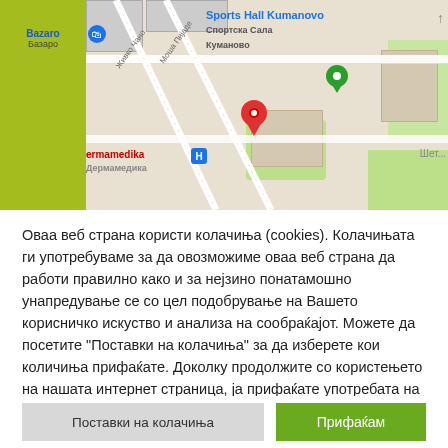[Figure (map): Google Maps screenshot showing Sports Hall Kumanovo area with street map, location pins (red and green), Bazaro store marker, Dermamedika hospital marker, and Cyrillic street labels including Живко Чано and Моша Пијаде streets.]
Оваа веб страна користи колачиња (cookies). Колачињата ги употребуваме за да овозможиме оваа веб страна да работи правилно како и за нејзино понатамошно унапредување се со цел подобрување на Вашето корисничко искуство и анализа на сообраќајот. Можете да посетите "Поставки на колачиња" за да изберете кои количиња прифаќате. Доколку продолжите со користењето на нашата интернет страница, ја прифаќате употребата на неопходни колачиња (necessary cookies).
Поставки на колачиња
Прифаќам